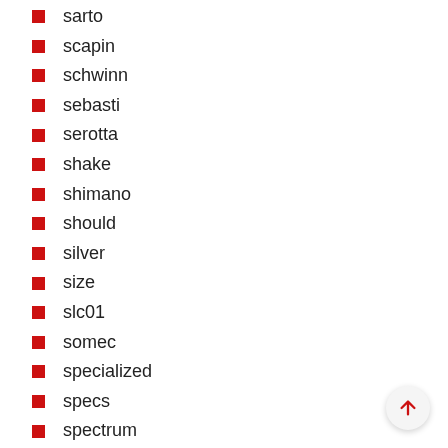sarto
scapin
schwinn
sebasti
serotta
shake
shimano
should
silver
size
slc01
somec
specialized
specs
spectrum
speed